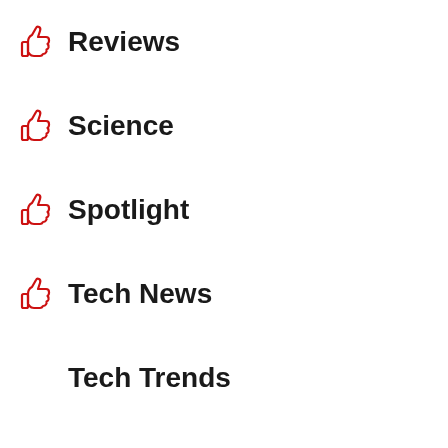Reviews
Science
Spotlight
Tech News
Tech Trends